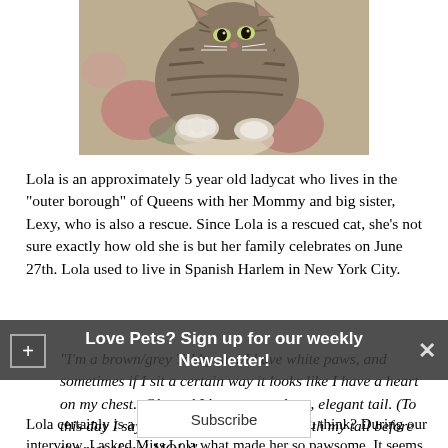[Figure (photo): A tabby kitten lying on a floral patterned fabric/blanket, looking toward the camera. Brown/grey striped cat with green eyes.]
Lola is an approximately 5 year old ladycat who lives in the "outer borough" of Queens with her Mommy and big sister, Lexy, who is also a rescue. Since Lola is a rescued cat, she's not sure exactly how old she is but her family celebrates on June 27th. Lola used to live in Spanish Harlem in New York City.
"I'm a brown/grey Tabby and I have white paws, and sometimes if I sit a certain way it looks like I have a heart on my chest.  Oh, and I have a very long, elegant tail. (To this day I say that Mommy fell in love with my tail before the rest of me! MOI.)"
Lola certainly is a very lovely ladycat, don't you think? During our interview, I asked Miss Lola what made her so pawsome. It seems as though she makes a wonderful bodyguard for her Mommy!